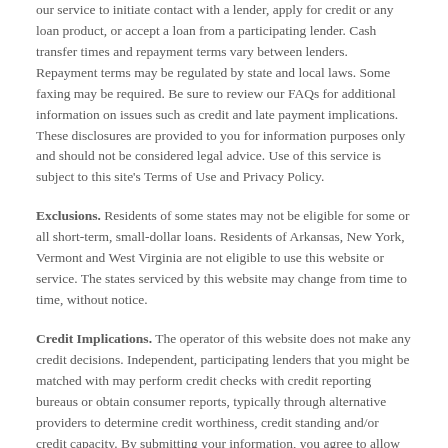our service to initiate contact with a lender, apply for credit or any loan product, or accept a loan from a participating lender. Cash transfer times and repayment terms vary between lenders. Repayment terms may be regulated by state and local laws. Some faxing may be required. Be sure to review our FAQs for additional information on issues such as credit and late payment implications. These disclosures are provided to you for information purposes only and should not be considered legal advice. Use of this service is subject to this site's Terms of Use and Privacy Policy.
Exclusions. Residents of some states may not be eligible for some or all short-term, small-dollar loans. Residents of Arkansas, New York, Vermont and West Virginia are not eligible to use this website or service. The states serviced by this website may change from time to time, without notice.
Credit Implications. The operator of this website does not make any credit decisions. Independent, participating lenders that you might be matched with may perform credit checks with credit reporting bureaus or obtain consumer reports, typically through alternative providers to determine credit worthiness, credit standing and/or credit capacity. By submitting your information, you agree to allow participating lenders to verify your information and check your credit. Loans provided by independent, participating lenders in our network are designed to provide cash to you to be repaid within a short amount of time. The short-term loans are not a solution for long-term debt and credit difficulties. Only borrow an amount that can be repaid on the date of your next pay period. Consider seeking